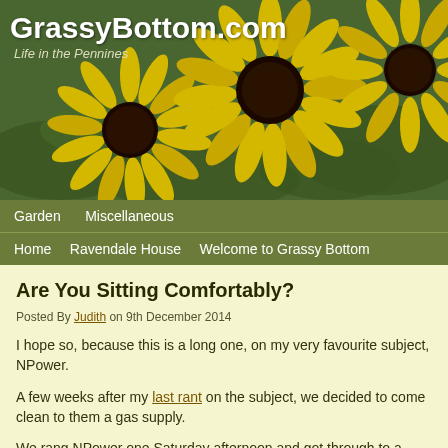[Figure (photo): Header banner photo of yellow black-eyed Susan flowers (Rudbeckia) against green foliage background, with site title 'GrassyBottom.com' and subtitle 'Life in the Pennines' overlaid in white text.]
Garden   Miscellaneous
Home   Ravendale House   Welcome to Grassy Bottom
Are You Sitting Comfortably?
Posted By Judith on 9th December 2014
I hope so, because this is a long one, on my very favourite subject, NPower.
A few weeks after my last rant on the subject, we decided to come clean to them a gas supply.
We rang NPower one Saturday afternoon and got through to a human being almo immediately. Armed with dates, times, reference numbers, account numbers, me and meter readings, we told our tale.
All we wanted was the gas supply adding to our existing electricity account. How b be?